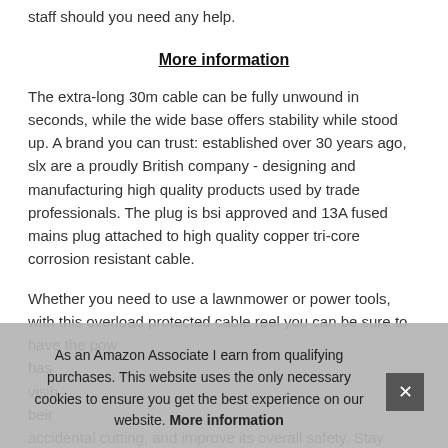staff should you need any help.
More information
The extra-long 30m cable can be fully unwound in seconds, while the wide base offers stability while stood up. A brand you can trust: established over 30 years ago, slx are a proudly British company - designing and manufacturing high quality products used by trade professionals. The plug is bsi approved and 13A fused mains plug attached to high quality copper tri-core corrosion resistant cable.
Whether you need to use a lawnmower or power tools, with this overload protected cable reel you can be sure to have the pow has visib beir accidental cutting, and improve its overall safety. Stay tangle
As an Amazon Associate I earn from qualifying purchases. This website uses the only necessary cookies to ensure you get the best experience on our website. More information